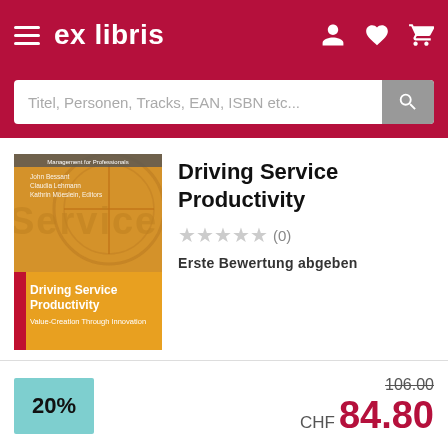ex libris
Titel, Personen, Tracks, EAN, ISBN etc...
[Figure (illustration): Book cover: Driving Service Productivity – Value-Creation Through Innovation, with compass background image, yellow and red design]
Driving Service Productivity
★★★★★ (0)
Erste Bewertung abgeben
20%
106.00
CHF 84.80
In den Warenkorb